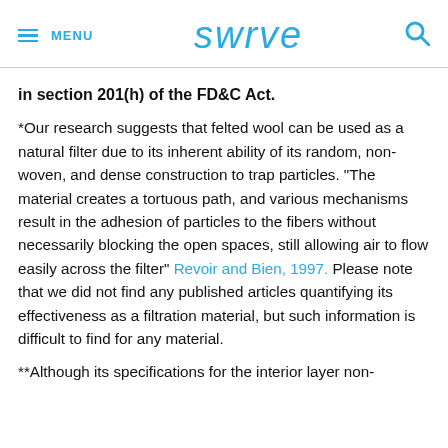≡ MENU  swrve  🔍
in section 201(h) of the FD&C Act.
*Our research suggests that felted wool can be used as a natural filter due to its inherent ability of its random, non-woven, and dense construction to trap particles. "The material creates a tortuous path, and various mechanisms result in the adhesion of particles to the fibers without necessarily blocking the open spaces, still allowing air to flow easily across the filter" Revoir and Bien, 1997. Please note that we did not find any published articles quantifying its effectiveness as a filtration material, but such information is difficult to find for any material.
**Although its specifications for the interior layer non-